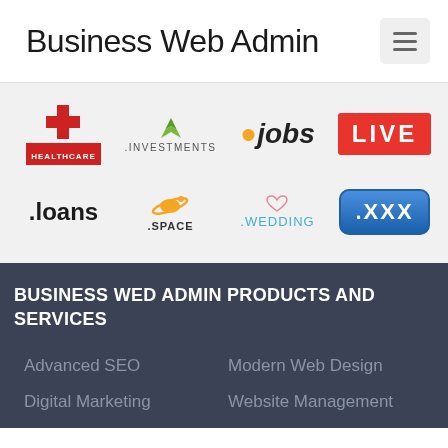Business Web Admin
[Figure (logo): Grid of 8 domain extension logos: .HEALTHCARE, .INVESTMENTS, .jobs, .LIVE, .loans, .SPACE, .WEDDING, .XXX]
BUSINESS WED ADMIN PRODUCTS AND SERVICES
Advanced SEO
Modern Web Design
Digital Marketing
Website Management